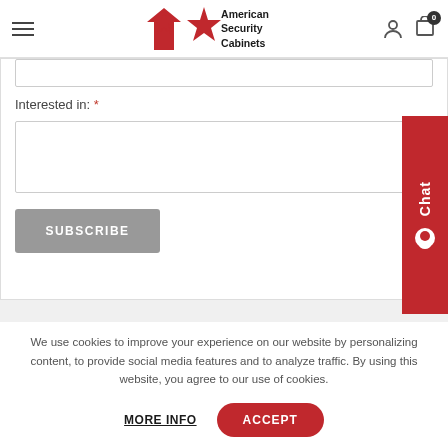American Security Cabinets
Interested in: *
[Figure (screenshot): Subscribe form with dropdown field and SUBSCRIBE button, plus a red Chat button on the right side]
We use cookies to improve your experience on our website by personalizing content, to provide social media features and to analyze traffic. By using this website, you agree to our use of cookies.
MORE INFO
ACCEPT